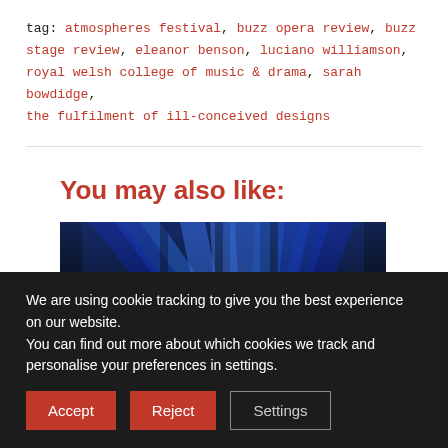tag: atmospheres festival, buzz opera review, buzz stage review, eleanor benson, luciano williamson, royal welsh college of music & drama, sarah bowdidge, the fulfilment of ill-conceived designs
You may also like:
[Figure (photo): Stage photo with blue lighting and illuminated marquee letter signs]
We are using cookie tracking to give you the best experience on our website.
You can find out more about which cookies we track and personalise your preferences in settings.